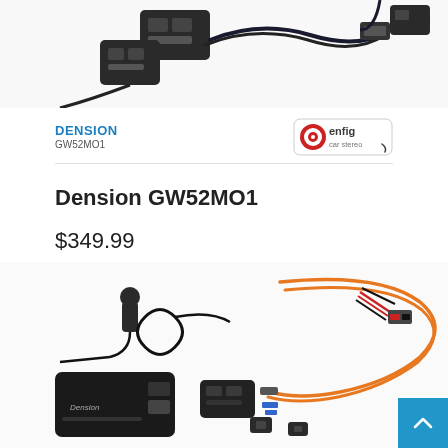[Figure (photo): Partial top view of Dension GW52MO1 product with cables and USB connector, cropped at top]
[Figure (logo): DENSION brand name in blue with model GW52MO1 below]
[Figure (logo): enfig car stereo logo — red/white circular eye icon with 'enfig car stereo' text in grey/dark]
Dension GW52MO1
$349.99
[Figure (photo): Bottom-cropped product photo showing Dension GW52MO1 kit with orange fiber optic cables, black control unit, microphone, connectors and wiring harness]